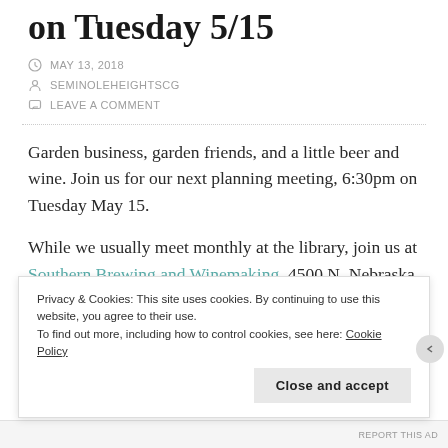on Tuesday 5/15
MAY 13, 2018
SEMINOLEHEIGHTSCG
LEAVE A COMMENT
Garden business, garden friends, and a little beer and wine. Join us for our next planning meeting, 6:30pm on Tuesday May 15.
While we usually meet monthly at the library, join us at Southern Brewing and Winemaking, 4500 N. Nebraska Ave. (between Osborne and MLK Blvd.).
Privacy & Cookies: This site uses cookies. By continuing to use this website, you agree to their use.
To find out more, including how to control cookies, see here: Cookie Policy
Close and accept
REPORT THIS AD